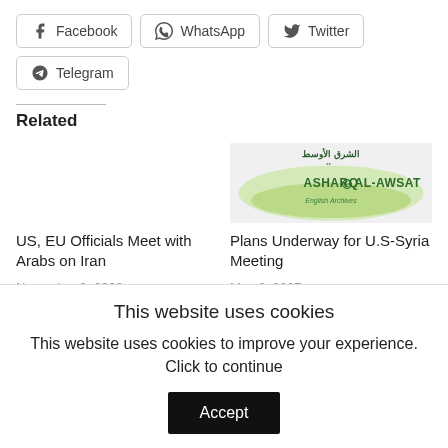Facebook
WhatsApp
Twitter
Telegram
Related
[Figure (logo): Asharq Al-Awsat English Archives logo with Arabic text and green swoosh design]
US, EU Officials Meet with Arabs on Iran
November 9, 2008
In "Middle East"
Plans Underway for U.S-Syria Meeting
May 2, 2007
In "Middle East"
This website uses cookies
This website uses cookies to improve your experience. Click to continue
Accept